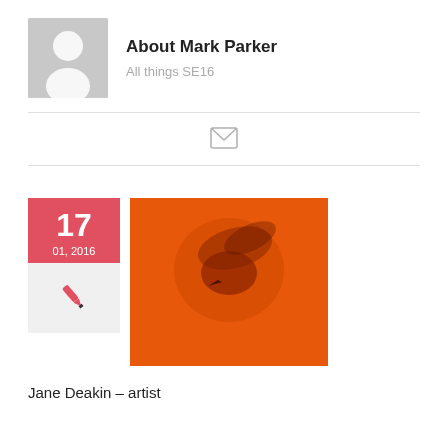About Mark Parker
All things SE16
[Figure (illustration): Email/envelope icon]
[Figure (photo): Close-up photo of a bird on an orange background]
17
01, 2016
[Figure (illustration): Pen/quill icon in red]
Jane Deakin – artist